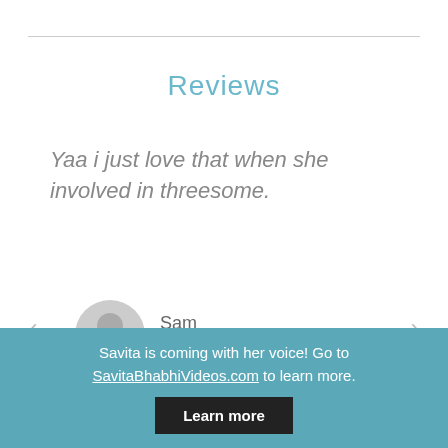Reviews
Yaa i just love that when she involved in threesome.
Sam
Velamma Comics member
Savita is coming with her voice! Go to SavitaBhabhiVideos.com to learn more.
Learn more